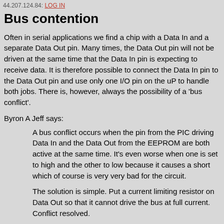44.207.124.84: LOG IN
Bus contention
Often in serial applications we find a chip with a Data In and a separate Data Out pin. Many times, the Data Out pin will not be driven at the same time that the Data In pin is expecting to receive data. It is therefore possible to connect the Data In pin to the Data Out pin and use only one I/O pin on the uP to handle both jobs. There is, however, always the possibility of a 'bus conflict'.
Byron A Jeff says:
A bus conflict occurs when the pin from the PIC driving Data In and the Data Out from the EEPROM are both active at the same time. It's even worse when one is set to high and the other to low because it causes a short which of course is very very bad for the circuit.
The solution is simple. Put a current limiting resistor on Data Out so that it cannot drive the bus at full current. Conflict resolved.
I believe the last time I did this I used either a 1K or a 2.2K resistor between Data Out and the PIC. Worked like a champ.
BTW this bus conflict is always a transient event because Data Out is usually tri-stated when not in use. So it's not